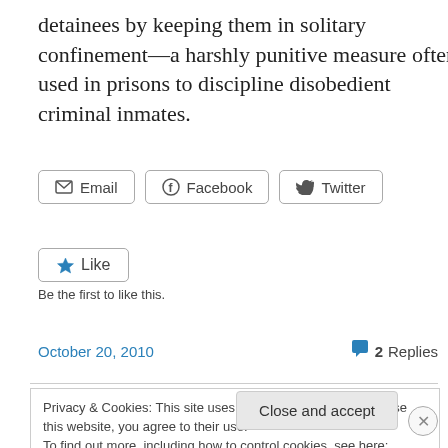detainees by keeping them in solitary confinement—a harshly punitive measure often used in prisons to discipline disobedient criminal inmates.
[Figure (other): Social share buttons: Email, Facebook, Twitter]
[Figure (other): Like button with star icon and 'Be the first to like this.' text]
Be the first to like this.
October 20, 2010
2 Replies
Privacy & Cookies: This site uses cookies. By continuing to use this website, you agree to their use. To find out more, including how to control cookies, see here: Cookie Policy